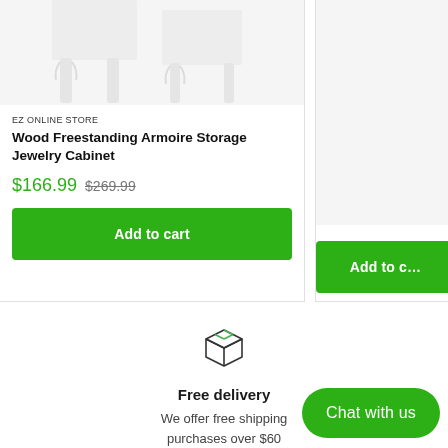[Figure (photo): Partial view of white furniture legs/armoire at top of product card]
EZ ONLINE STORE
Wood Freestanding Armoire Storage Jewelry Cabinet
$166.99  $269.99
Add to cart
Add to cart (partial, second product card)
[Figure (illustration): Box/package icon representing free delivery]
Free delivery
We offer free shipping purchases over $60
Chat with us